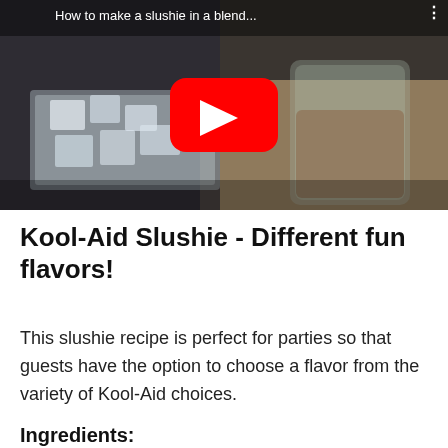[Figure (screenshot): YouTube video thumbnail showing a glass jar with a drink and ice cubes in a container on a wooden table. Video title reads 'How to make a slushie in a blend...' with a red YouTube play button in the center.]
Kool-Aid Slushie - Different fun flavors!
This slushie recipe is perfect for parties so that guests have the option to choose a flavor from the variety of Kool-Aid choices.
Ingredients: